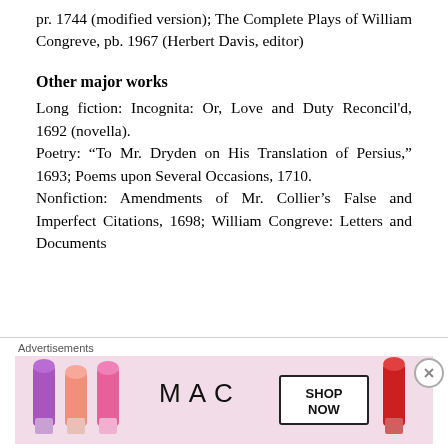pr. 1744 (modified version); The Complete Plays of William Congreve, pb. 1967 (Herbert Davis, editor)
Other major works
Long fiction: Incognita: Or, Love and Duty Reconcil'd, 1692 (novella).
Poetry: “To Mr. Dryden on His Translation of Persius,” 1693; Poems upon Several Occasions, 1710.
Nonfiction: Amendments of Mr. Collier’s False and Imperfect Citations, 1698; William Congreve: Letters and Documents
[Figure (advertisement): MAC cosmetics advertisement showing lipsticks with 'SHOP NOW' button]